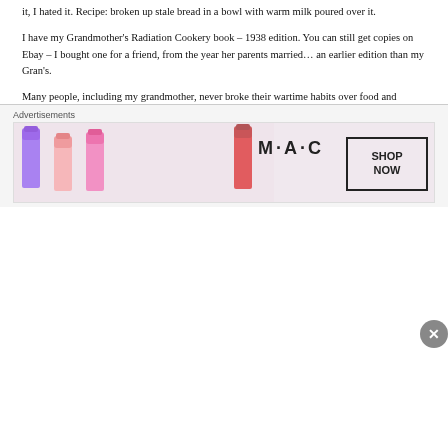it, I hated it. Recipe: broken up stale bread in a bowl with warm milk poured over it.
I have my Grandmother’s Radiation Cookery book – 1938 edition. You can still get copies on Ebay – I bought one for a friend, from the year her parents married… an earlier edition than my Gran’s.
Many people, including my grandmother, never broke their wartime habits over food and switching lights off, which is not a bad thing these days. In the 50s, my friend’s parents were still using sweetened condensed milk, kept in their sideboard, for their cups of tea, even though they had a fresh milk delivery!
I remember that I had a small fried egg, a rasher of streaky bacon and half a slice of (un-buttered) bread, every day, for breakfast throughout 50’ and 60s. My Gran…
Advertisements
[Figure (other): MAC Cosmetics advertisement banner showing lipsticks in purple, peach, pink and red with MAC logo and SHOP NOW button]